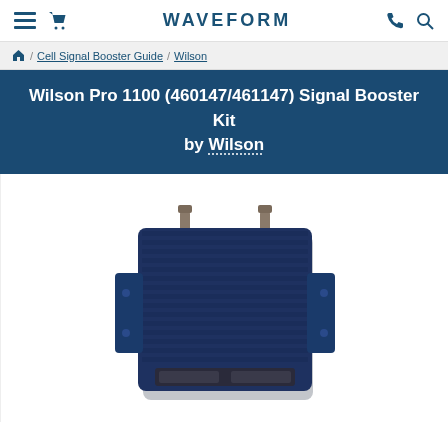WAVEFORM
/ Cell Signal Booster Guide / Wilson
Wilson Pro 1100 (460147/461147) Signal Booster Kit by Wilson
[Figure (photo): Product photo of Wilson Pro 1100 signal booster — a rectangular dark blue metal enclosure with heat sink fins, two SMA antenna ports on top, mounting brackets on sides, and a small LED panel at bottom center.]